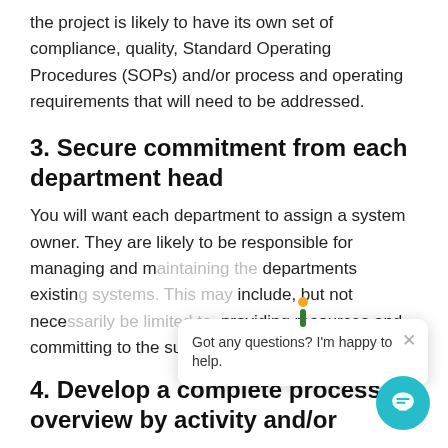the project is likely to have its own set of compliance, quality, Standard Operating Procedures (SOPs) and/or process and operating requirements that will need to be addressed.
3. Secure commitment from each department head
You will want each department to assign a system owner. They are likely to be responsible for managing and m[...] departments existin[...] include, but not nece[...] providing resources and committing to the success of the project.
4. Develop a complete process overview by activity and/or